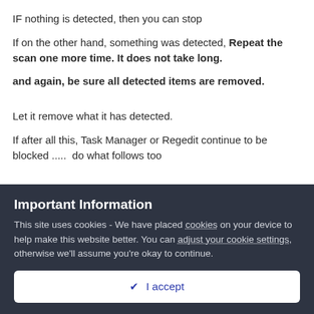IF nothing is detected, then you can stop
If on the other hand, something was detected, Repeat the scan one more time. It does not take long.
and again, be sure all detected items are removed.
Let it remove what it has detected.
If after all this, Task Manager or Regedit continue to be blocked .....  do what follows too
Important Information
This site uses cookies - We have placed cookies on your device to help make this website better. You can adjust your cookie settings, otherwise we'll assume you're okay to continue.
✔ I accept